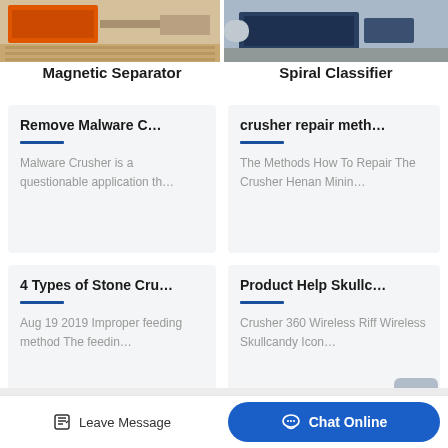[Figure (photo): Photo of magnetic separator equipment with orange metal frame on paved surface]
[Figure (photo): Photo of spiral classifier equipment, dark blue/grey machinery on ground]
Magnetic Separator
Spiral Classifier
Remove Malware C…
Malware Crusher is a questionable application th…
crusher repair meth…
The Methods How To Repair The Crusher Henan Minin…
4 Types of Stone Cru…
Aug 19 2019 Improper feeding method The feedin…
Product Help Skullc…
Crusher 360 Wireless Riff Wireless Skullcandy Icon…
Leave Message
Chat Online